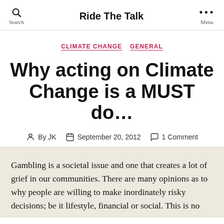Ride The Talk
CLIMATE CHANGE   GENERAL
Why acting on Climate Change is a MUST do…
By JK   September 20, 2012   1 Comment
Gambling is a societal issue and one that creates a lot of grief in our communities. There are many opinions as to why people are willing to make inordinately risky decisions; be it lifestyle, financial or social. This is no